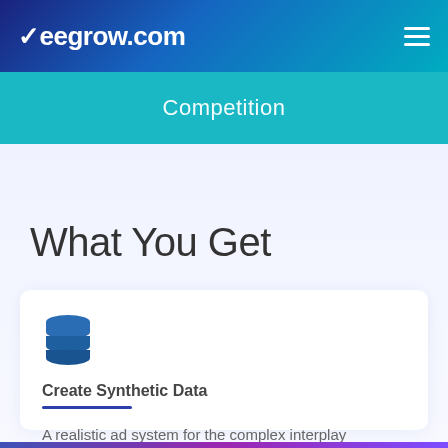Meegrow.com
Competition
What You Get
[Figure (illustration): Database stack icon in teal/blue color]
Create Synthetic Data
A realistic ad system for the complex interplay between consumers, marketing tools, and environmental phenomena